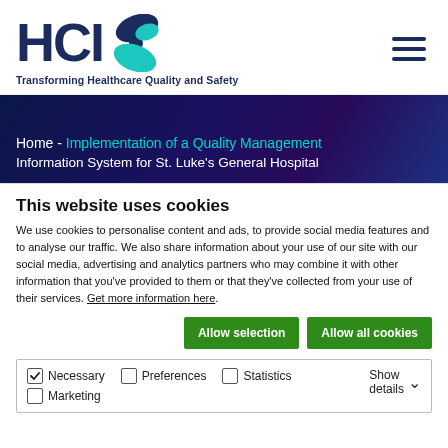[Figure (logo): HCIE logo with teal swirl icon and tagline 'Transforming Healthcare Quality and Safety']
[Figure (other): Hamburger menu icon (three horizontal dark blue lines)]
[Figure (other): Dark blue/purple gradient banner with breadcrumb text: Home - Implementation of a Quality Management Information System for St. Luke's General Hospital]
This website uses cookies
We use cookies to personalise content and ads, to provide social media features and to analyse our traffic. We also share information about your use of our site with our social media, advertising and analytics partners who may combine it with other information that you've provided to them or that they've collected from your use of their services. Get more information here.
Allow selection | Allow all cookies
Necessary  Preferences  Statistics  Marketing  Show details